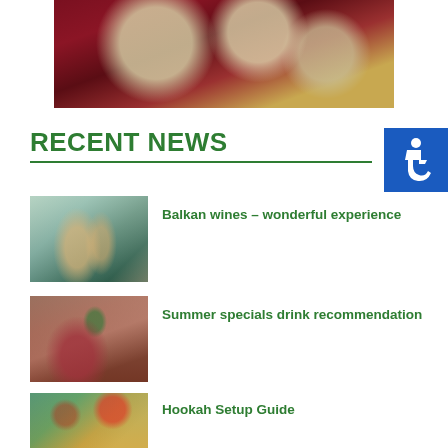[Figure (photo): Close-up photo of glass bulb pendant lights with a dark maroon/red background]
RECENT NEWS
[Figure (photo): Accessibility wheelchair icon on blue background]
[Figure (photo): Two hands clinking wine glasses outdoors with palm tree shadow]
Balkan wines – wonderful experience
[Figure (photo): Dark red cocktail drink with garnish on wooden table]
Summer specials drink recommendation
[Figure (photo): Hookah setup with fruits on teal surface]
Hookah Setup Guide